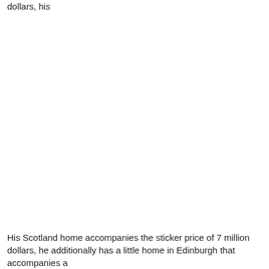dollars, his
His Scotland home accompanies the sticker price of 7 million dollars, he additionally has a little home in Edinburgh that accompanies a